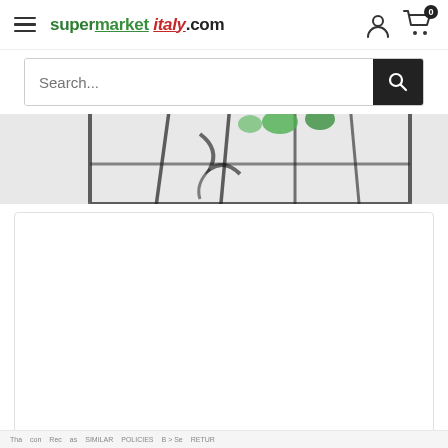supermarketitaly.com — navigation header with hamburger menu, logo, account icon, cart icon with badge 0
[Figure (screenshot): Search bar with placeholder text 'Search...' and black search button with magnifying glass icon]
[Figure (photo): Partial product image showing a wire/grid basket or crate with green items, blurred/cropped at top]
[Figure (screenshot): White product card area below the product image]